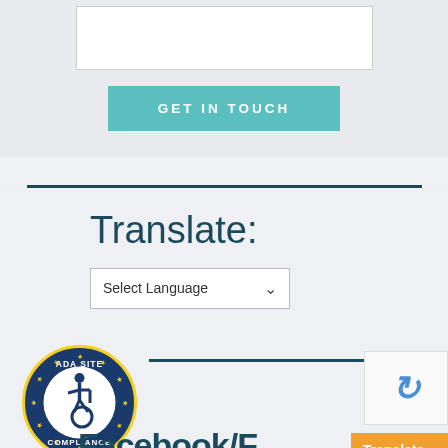[Figure (other): White input text box (form field area)]
GET IN TOUCH
Translate:
Select Language
[Figure (logo): ADA Site Compliance badge with accessibility wheelchair icon, circular seal with stars]
[Figure (logo): reCAPTCHA logo]
Translate »
Facebook/F...